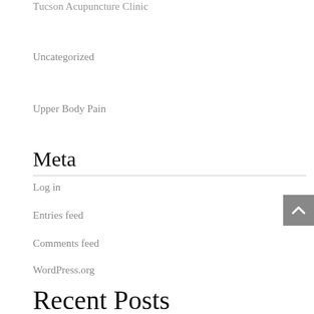Tucson Acupuncture Clinic
Uncategorized
Upper Body Pain
Meta
Log in
Entries feed
Comments feed
WordPress.org
Recent Posts